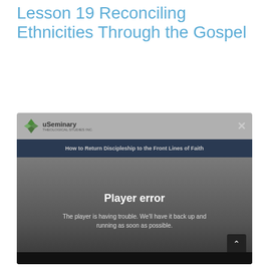Lesson 19 Reconciling Ethnicities Through the Gospel
[Figure (screenshot): A video player screenshot showing a 'Player error' message overlay. The player belongs to uSeminary with the title 'How to Return Discipleship to the Front Lines of Faith'. The error message reads: 'Player error — The player is having trouble. We'll have it back up and running as soon as possible.']